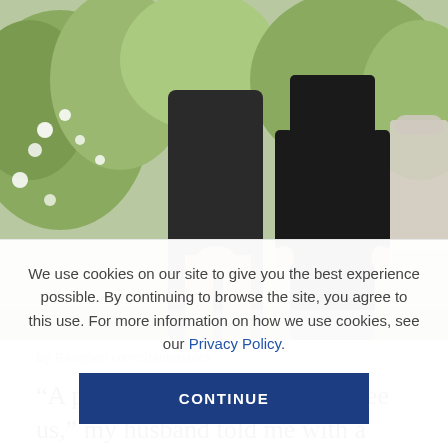[Figure (photo): Two people standing outdoors at what appears to be a cemetery or garden, wearing dark clothing. Only their torsos and legs are visible. A woman in a dark dress stands next to a man in dark pants. Green foliage and white flowers visible in background.]
By Rawpixel.com/Shutterstock
“A policeman is on his way to see us,” my husband told me with a look that said it all, before adding, “they rarely bring good news.” With that one phone call, and
We use cookies on our site to give you the best experience possible. By continuing to browse the site, you agree to this use. For more information on how we use cookies, see our Privacy Policy.
CONTINUE